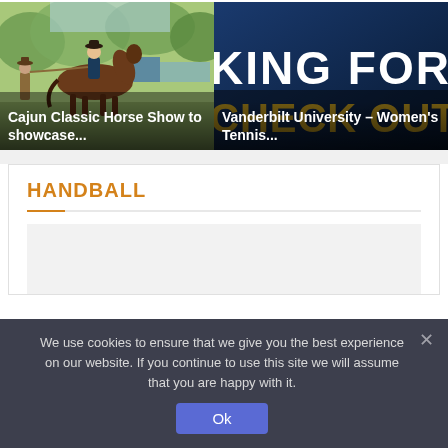[Figure (photo): Outdoor horse show scene with people, horses, tents in background. Caption: Cajun Classic Horse Show to showcase...]
Cajun Classic Horse Show to showcase...
[Figure (photo): Dark blue background with large white text 'KING FOR A.' and gold text 'CHECK OUT T' — Vanderbilt University Women's Tennis promotional image.]
Vanderbilt University – Women's Tennis...
HANDBALL
We use cookies to ensure that we give you the best experience on our website. If you continue to use this site we will assume that you are happy with it.